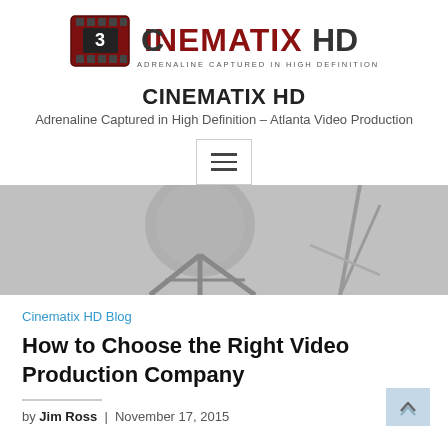[Figure (logo): CinematixHD logo — film clapper icon with the text CINEMATIXHD and tagline ADRENALINE CAPTURED IN HIGH DEFINITION]
CINEMATIX HD
Adrenaline Captured in High Definition – Atlanta Video Production
[Figure (other): Hamburger menu button with three horizontal lines]
[Figure (photo): Grayscale hero image showing film/video production equipment including a camera rig or drone]
Cinematix HD Blog
How to Choose the Right Video Production Company
by Jim Ross | November 17, 2015